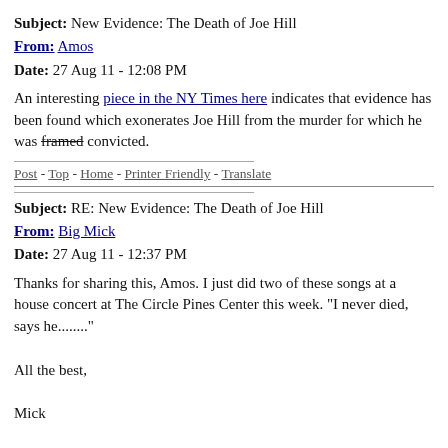Subject: New Evidence: The Death of Joe Hill
From: Amos
Date: 27 Aug 11 - 12:08 PM
An interesting piece in the NY Times here indicates that evidence has been found which exonerates Joe Hill from the murder for which he was framed convicted.
Post - Top - Home - Printer Friendly - Translate
Subject: RE: New Evidence: The Death of Joe Hill
From: Big Mick
Date: 27 Aug 11 - 12:37 PM
Thanks for sharing this, Amos. I just did two of these songs at a house concert at The Circle Pines Center this week. "I never died, says he........"

All the best,

Mick